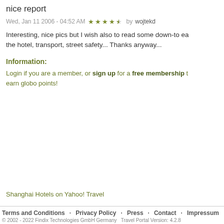nice report
Wed, Jan 11 2006 - 04:52 AM ★★★★☆ by wojtekd
Interesting, nice pics but I wish also to read some down-to earth info about the hotel, transport, street safety... Thanks anyway...
Information:
Login if you are a member, or sign up for a free membership to earn globo points!
Shanghai Hotels on Yahoo! Travel
Terms and Conditions   Privacy Policy   Press   Contact   Impressum
© 2002 - 2022 Findix Technologies GmbH Germany   Travel Portal Version: 4.2.8